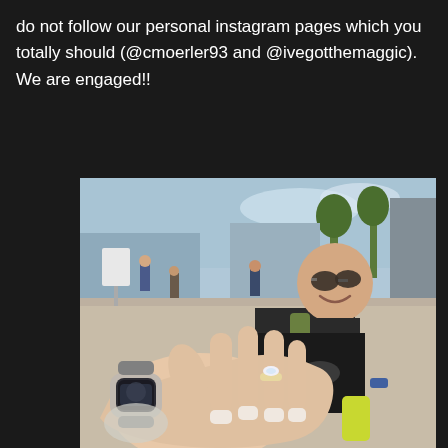do not follow our personal instagram pages which you totally should (@cmoerler93 and @ivegotthemaggic). We are engaged!!
[Figure (photo): A smiling man wearing sunglasses and a black t-shirt, sitting outdoors at what appears to be a theme park (EPCOT). A woman's hand wearing an engagement ring and an Apple Watch is shown in the foreground.]